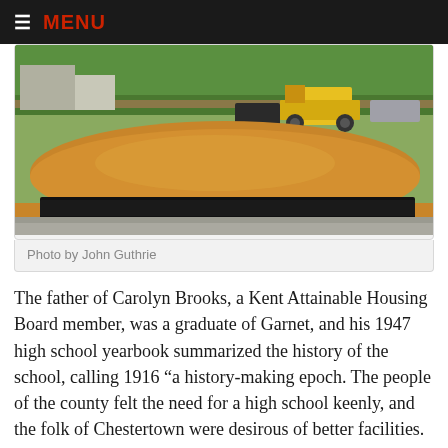MENU
[Figure (photo): Construction site photo showing a mound of dirt/soil with a yellow construction vehicle in the background, trees visible behind a fence, and a black silt fence barrier in the foreground on a paved surface.]
Photo by John Guthrie
The father of Carolyn Brooks, a Kent Attainable Housing Board member, was a graduate of Garnet, and his 1947 high school yearbook summarized the history of the school, calling 1916 “a history-making epoch. The people of the county felt the need for a high school keenly, and the folk of Chestertown were desirous of better facilities. So under the leadership of Mts. Emma Miller (County Superintendent of Colored Schools from 1911 to 1922), each community taxed itself a certain sum of money which was to be used to purchase ground. Mrs. Miller